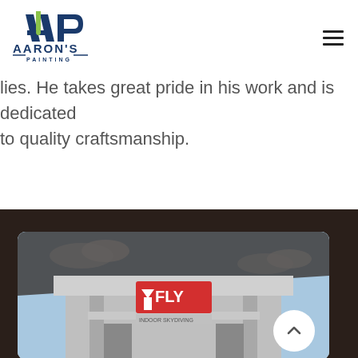[Figure (logo): Aaron's Painting logo with stylized AP letters in navy and green, company name below]
lies. He takes great pride in his work and is dedicated to quality craftsmanship.
[Figure (photo): Photo of an iFLY building exterior with grey facade, iFLY signage visible, shot against a partly cloudy sky. The building has a modern rectangular design.]